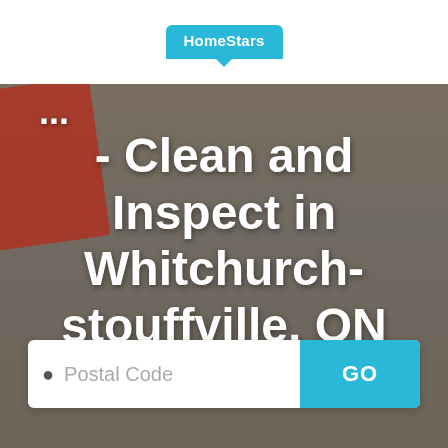HomeStars
- Clean and Inspect in Whitchurch-stouffville, ON
Postal Code
GO